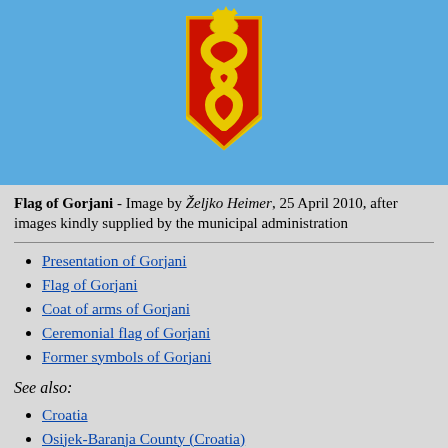[Figure (illustration): Flag of Gorjani - light blue background with a red shield/coat of arms in the center featuring a yellow serpent and crown]
Flag of Gorjani - Image by Željko Heimer, 25 April 2010, after images kindly supplied by the municipal administration
Presentation of Gorjani
Flag of Gorjani
Coat of arms of Gorjani
Ceremonial flag of Gorjani
Former symbols of Gorjani
See also:
Croatia
Osijek-Baranja County (Croatia)
Croatia: Local flags